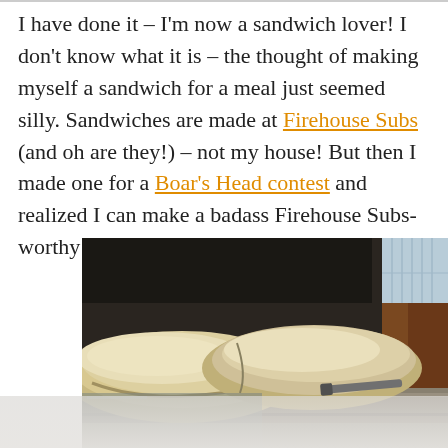I have done it – I'm now a sandwich lover! I don't know what it is – the thought of making myself a sandwich for a meal just seemed silly. Sandwiches are made at Firehouse Subs (and oh are they!) – not my house! But then I made one for a Boar's Head contest and realized I can make a badass Firehouse Subs-worthy sandwich in my own kitchen!
[Figure (photo): Close-up photo of sandwich bread loaves on a baking tray, with a dark background and wooden surface visible. Bread appears dusted with flour.]